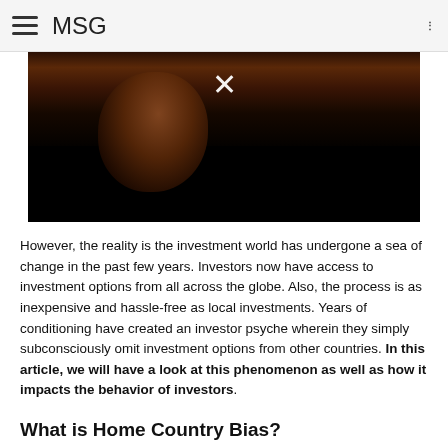MSG
[Figure (screenshot): Dark video player thumbnail showing a woman in a cinema setting, with a white X close button overlay in the center.]
However, the reality is the investment world has undergone a sea of change in the past few years. Investors now have access to investment options from all across the globe. Also, the process is as inexpensive and hassle-free as local investments. Years of conditioning have created an investor psyche wherein they simply subconsciously omit investment options from other countries. In this article, we will have a look at this phenomenon as well as how it impacts the behavior of investors.
What is Home Country Bias?